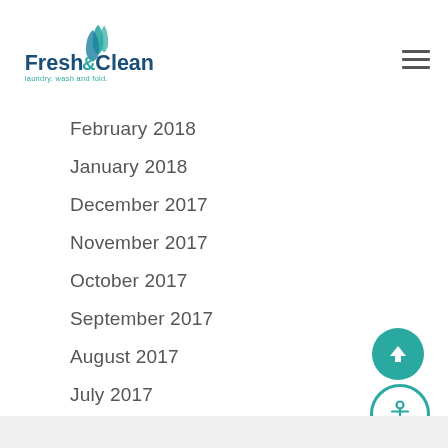Fresh&Clean laundry. wash and fold.
February 2018
January 2018
December 2017
November 2017
October 2017
September 2017
August 2017
July 2017
June 2017